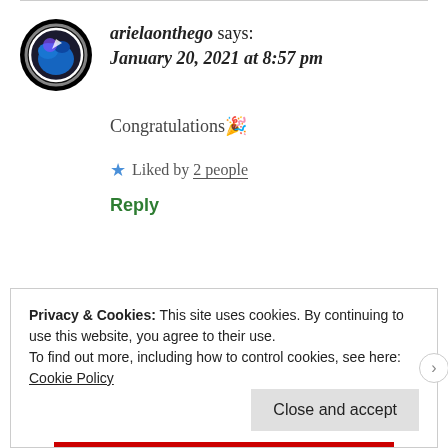arielaonthego says: January 20, 2021 at 8:57 pm
Congratulations 🎉
★ Liked by 2 people
Reply
Privacy & Cookies: This site uses cookies. By continuing to use this website, you agree to their use.
To find out more, including how to control cookies, see here: Cookie Policy
Close and accept